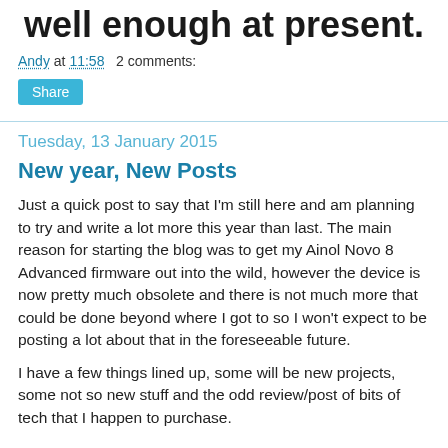well enough at present.
Andy at 11:58   2 comments:
Share
Tuesday, 13 January 2015
New year, New Posts
Just a quick post to say that I'm still here and am planning to try and write a lot more this year than last. The main reason for starting the blog was to get my Ainol Novo 8 Advanced firmware out into the wild, however the device is now pretty much obsolete and there is not much more that could be done beyond where I got to so I won't expect to be posting a lot about that in the foreseeable future.
I have a few things lined up, some will be new projects, some not so new stuff and the odd review/post of bits of tech that I happen to purchase.